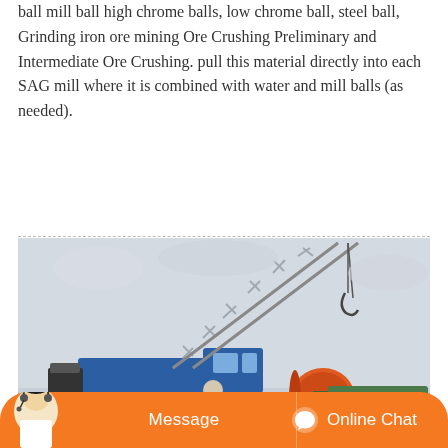ball mill ball high chrome balls, low chrome ball, steel ball, Grinding iron ore mining Ore Crushing Preliminary and Intermediate Ore Crushing. pull this material directly into each SAG mill where it is combined with water and mill balls (as needed).
[Figure (photo): A large industrial crane with extended boom and hook, photographed at a mining or construction site. Industrial equipment including what appears to be a ball mill (orange/red cylindrical drum) visible in the background. A person in work clothes visible near the equipment. Overcast sky background.]